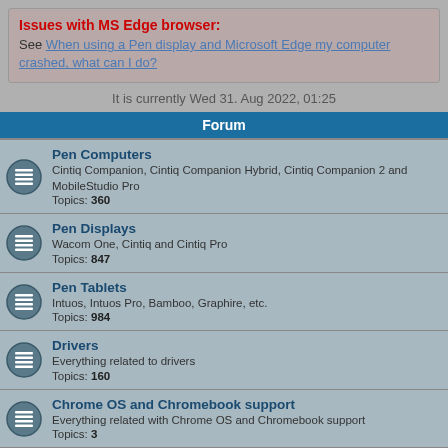Issues with MS Edge browser:
See When using a Pen display and Microsoft Edge my computer crashed, what can I do?
It is currently Wed 31. Aug 2022, 01:25
Forum
Pen Computers
Cintiq Companion, Cintiq Companion Hybrid, Cintiq Companion 2 and MobileStudio Pro
Topics: 360
Pen Displays
Wacom One, Cintiq and Cintiq Pro
Topics: 847
Pen Tablets
Intuos, Intuos Pro, Bamboo, Graphire, etc.
Topics: 984
Drivers
Everything related to drivers
Topics: 160
Chrome OS and Chromebook support
Everything related with Chrome OS and Chromebook support
Topics: 3
Smartpads
Bamboo Spark, Bamboo Slate, Bamboo Folio
Topics: 56
Stylus
Bamboo Stylus (all flavors), Fineline, Intuos Creative Stylus,
Topics: 46